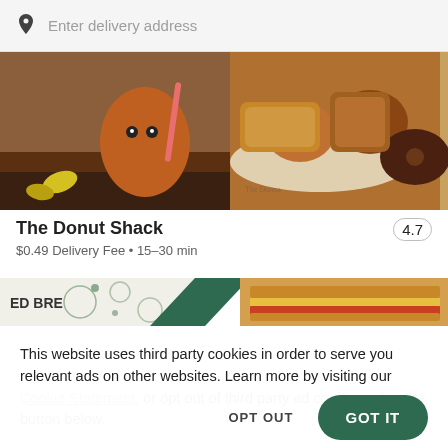Enter delivery address
[Figure (photo): Food delivery app hero image showing donuts, pastries, and a cartoon character cup]
The Donut Shack
4.7
$0.49 Delivery Fee • 15–30 min
[Figure (photo): Second restaurant image strip showing sandwich and ED BRE logo wrapping paper]
This website uses third party cookies in order to serve you relevant ads on other websites. Learn more by visiting our Cookie Statement, or opt out of third party ad cookies using the button below.
OPT OUT
GOT IT